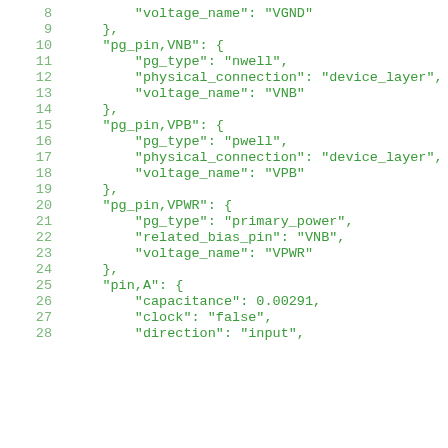8      "voltage_name": "VGND"
9    },
10    "pg_pin,VNB": {
11      "pg_type": "nwell",
12      "physical_connection": "device_layer",
13      "voltage_name": "VNB"
14    },
15    "pg_pin,VPB": {
16      "pg_type": "pwell",
17      "physical_connection": "device_layer",
18      "voltage_name": "VPB"
19    },
20    "pg_pin,VPWR": {
21      "pg_type": "primary_power",
22      "related_bias_pin": "VNB",
23      "voltage_name": "VPWR"
24    },
25    "pin,A": {
26      "capacitance": 0.00291,
27      "clock": "false",
28      "direction": "input",